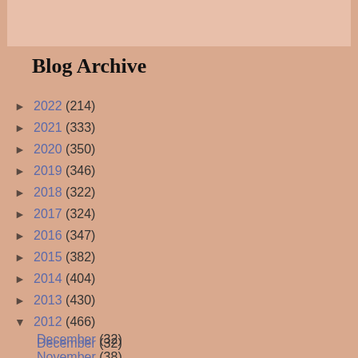Blog Archive
► 2022 (214)
► 2021 (333)
► 2020 (350)
► 2019 (346)
► 2018 (322)
► 2017 (324)
► 2016 (347)
► 2015 (382)
► 2014 (404)
► 2013 (430)
▼ 2012 (466)
December (32)
November (38)
October (41)